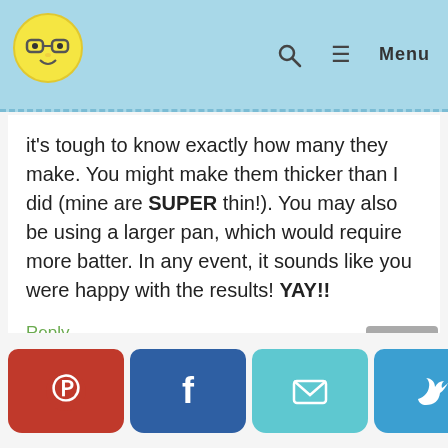Navigation header with avatar, search icon, and Menu
it's tough to know exactly how many they make. You might make them thicker than I did (mine are SUPER thin!). You may also be using a larger pan, which would require more batter. In any event, it sounds like you were happy with the results! YAY!!
Reply
[Figure (other): Social share buttons: Pinterest, Facebook, Email, Twitter, Reddit, WhatsApp, Tumblr]